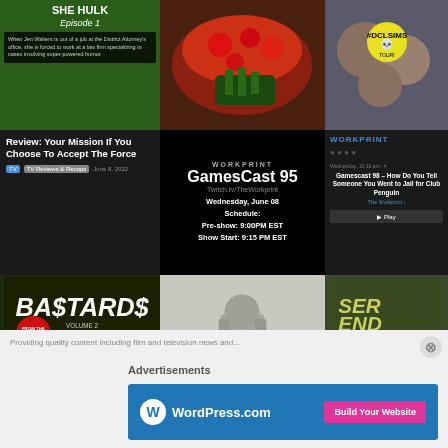[Figure (screenshot): Grid of website thumbnails showing She-Hulk Episode 1 review, food/floral image, cookies, TV review article, Gamescast 95 stream schedule on Twitch (Wednesday June 08, Pre-show 9:00PM EST, Show Start 9:15 PM EST), Workprint sidebar with Gamescast 98 article, Jedi figure with lightsaber, BA$TARDS Vol 2 comic cover, armored knight miniature with JOIN @SUNNYVICE20 text, and Serendipity End of the World movie poster]
Providing quality content including film and television...
Advertisements
[Figure (screenshot): WordPress.com advertisement banner with blue background showing WordPress logo icon, WordPress.com text, and Build Your Website pink button]